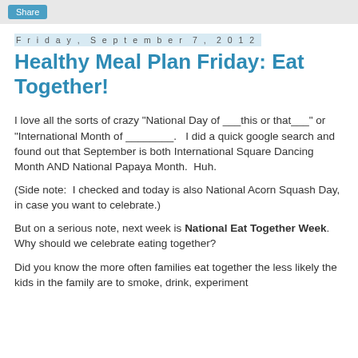Share
Friday, September 7, 2012
Healthy Meal Plan Friday: Eat Together!
I love all the sorts of crazy "National Day of ___this or that___" or "International Month of ________."   I did a quick google search and found out that September is both International Square Dancing Month AND National Papaya Month.  Huh.
(Side note:  I checked and today is also National Acorn Squash Day, in case you want to celebrate.)
But on a serious note, next week is National Eat Together Week.  Why should we celebrate eating together?
Did you know the more often families eat together the less likely the kids in the family are to smoke, drink, experiment